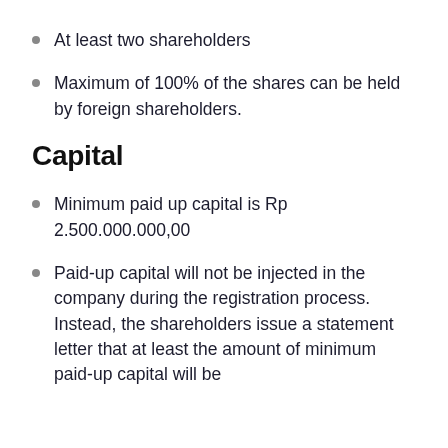At least two shareholders
Maximum of 100% of the shares can be held by foreign shareholders.
Capital
Minimum paid up capital is Rp 2.500.000.000,00
Paid-up capital will not be injected in the company during the registration process. Instead, the shareholders issue a statement letter that at least the amount of minimum paid-up capital will be